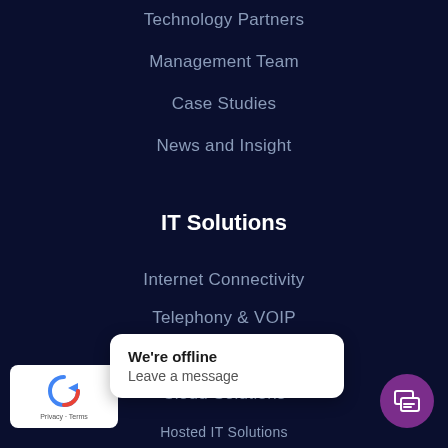Technology Partners
Management Team
Case Studies
News and Insight
IT Solutions
Internet Connectivity
Telephony & VOIP
CCTV
Cloud Solutions
Hosted IT Solutions
We're offline
Leave a message